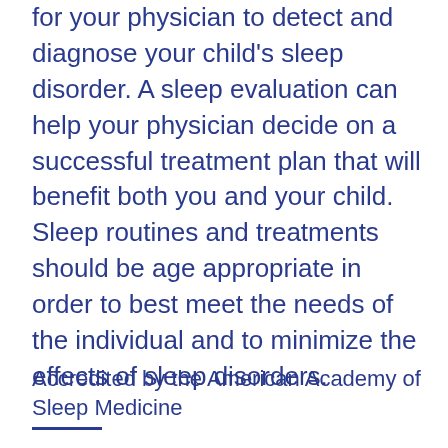for your physician to detect and diagnose your child's sleep disorder. A sleep evaluation can help your physician decide on a successful treatment plan that will benefit both you and your child. Sleep routines and treatments should be age appropriate in order to best meet the needs of the individual and to minimize the effects of sleep disorders.
Accredited by the American Academy of Sleep Medicine